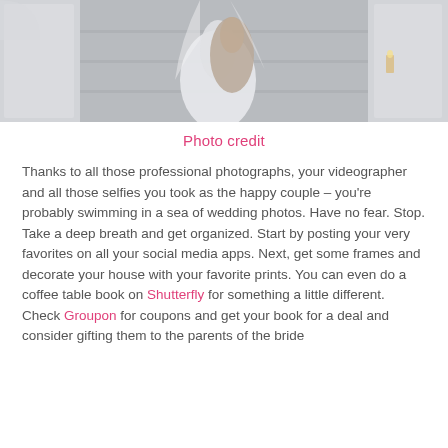[Figure (photo): Wedding couple embracing on steps with white decorative walls, viewed from waist up. Groom in beige/tan suit jacket, bride in white flowing dress with veil.]
Photo credit
Thanks to all those professional photographs, your videographer and all those selfies you took as the happy couple – you're probably swimming in a sea of wedding photos. Have no fear. Stop. Take a deep breath and get organized. Start by posting your very favorites on all your social media apps. Next, get some frames and decorate your house with your favorite prints. You can even do a coffee table book on Shutterfly for something a little different. Check Groupon for coupons and get your book for a deal and consider gifting them to the parents of the bride